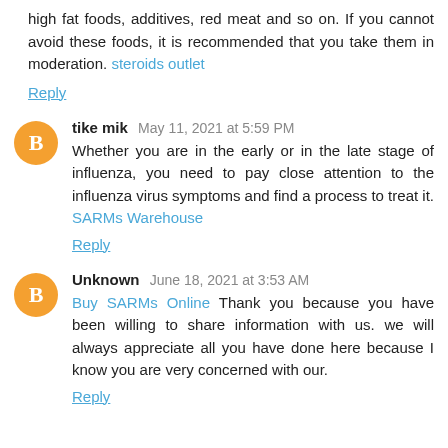high fat foods, additives, red meat and so on. If you cannot avoid these foods, it is recommended that you take them in moderation. steroids outlet
Reply
tike mik May 11, 2021 at 5:59 PM
Whether you are in the early or in the late stage of influenza, you need to pay close attention to the influenza virus symptoms and find a process to treat it. SARMs Warehouse
Reply
Unknown June 18, 2021 at 3:53 AM
Buy SARMs Online Thank you because you have been willing to share information with us. we will always appreciate all you have done here because I know you are very concerned with our.
Reply